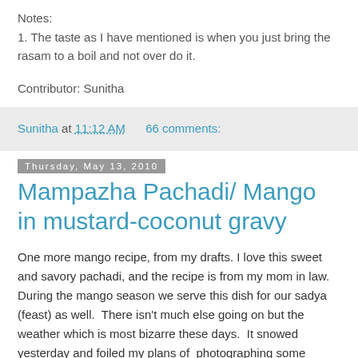Notes:
1. The taste as I have mentioned is when you just bring the rasam to a boil and not over do it.
Contributor: Sunitha
Sunitha at 11:12 AM    66 comments:
Thursday, May 13, 2010
Mampazha Pachadi/ Mango in mustard-coconut gravy
One more mango recipe, from my drafts. I love this sweet and savory pachadi, and the recipe is from my mom in law. During the mango season we serve this dish for our sadya (feast) as well.  There isn't much else going on but the weather which is most bizarre these days.  It snowed yesterday and foiled my plans of  photographing some yummies yesterday.  I am sitting with my fingers crossed for